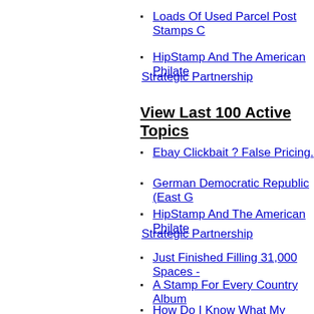Loads Of Used Parcel Post Stamps C…
HipStamp And The American Philate… Strategic Partnership
View Last 100 Active Topics
Ebay Clickbait ? False Pricing.
German Democratic Republic (East G…
HipStamp And The American Philate… Strategic Partnership
Just Finished Filling 31,000 Spaces -…
A Stamp For Every Country Album
How Do I Know What My Stamps Are…
Morse Code And Keypunch Tape On…
1923 George Washington Different P…
New Member From Poland
Barcelona & Catalonia Cinderellas
Florida Mail Carrier, 61, Mauled To D…